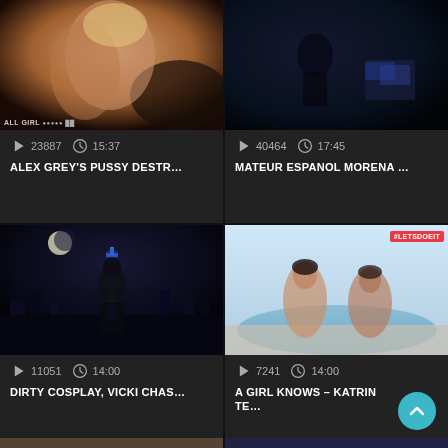[Figure (screenshot): Video thumbnail: two women embracing, warm skin tones, dark sofa background, 'ALL GIRL' label bottom-left]
23887   15:37
ALEX GREY'S PUSSY DESTR…
[Figure (screenshot): Video thumbnail: dark blue room, figure silhouetted, low-light indoor scene]
40464   17:45
MATEUR ESPANOL MORENA …
[Figure (screenshot): Video thumbnail: woman in black catsuit, night city skyline with moon and blue tower]
11051   14:00
DIRTY COSPLAY, VICKI CHAS…
[Figure (screenshot): Video thumbnail: two women at outdoor pool, '#LETSDOEIT' badge top-right]
7241   14:00
A GIRL KNOWS – KATRIN TE…